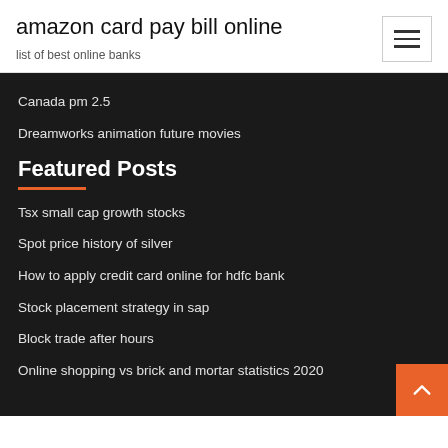amazon card pay bill online
list of best online banks
Canada pm 2.5
Dreamworks animation future movies
Featured Posts
Tsx small cap growth stocks
Spot price history of silver
How to apply credit card online for hdfc bank
Stock placement strategy in sap
Block trade after hours
Online shopping vs brick and mortar statistics 2020